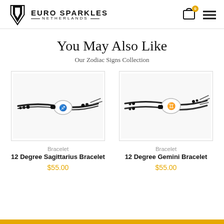[Figure (logo): Euro Sparkles Netherlands logo with stylized S icon and brand name]
You May Also Like
Our Zodiac Signs Collection
[Figure (photo): 12 Degree Sagittarius Bracelet — black cord bracelet with silver zodiac charm]
Bracelet
12 Degree Sagittarius Bracelet
$55.00
[Figure (photo): 12 Degree Gemini Bracelet — black cord bracelet with silver zodiac charm]
Bracelet
12 Degree Gemini Bracelet
$55.00